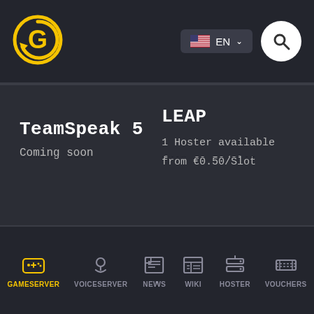[Figure (logo): Circular yellow G logo for gaming server marketplace]
EN (language selector with US flag and dropdown) and search button
TeamSpeak 5
Coming soon
LEAP
1 Hoster available from €0.50/Slot
GAMESERVER | VOICESERVER | NEWS | WIKI | HOSTER | VOUCHERS